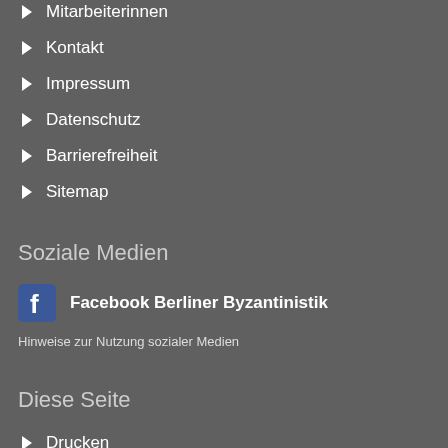Mitarbeiterinnen
Kontakt
Impressum
Datenschutz
Barrierefreiheit
Sitemap
Soziale Medien
Facebook Berliner Byzantinistik
Hinweise zur Nutzung sozialer Medien
Diese Seite
Drucken